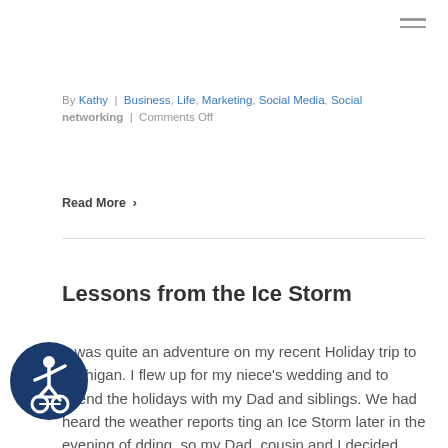≡ (hamburger menu)
By Kathy | Business, Life, Marketing, Social Media, Social networking | Comments Off
Read More ›
Lessons from the Ice Storm
It was quite an adventure on my recent Holiday trip to Michigan. I flew up for my niece's wedding and to spend the holidays with my Dad and siblings. We had heard the weather reports ting an Ice Storm later in the evening of dding, so my Dad, cousin and I decided to [...]